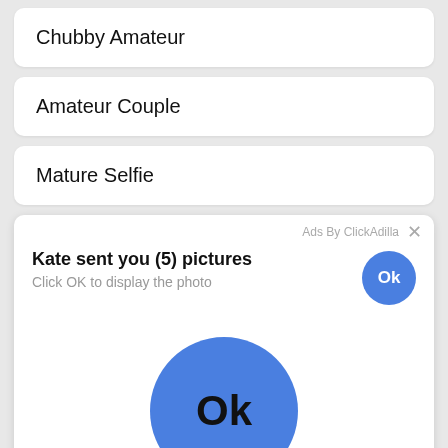Chubby Amateur
Amateur Couple
Mature Selfie
[Figure (screenshot): Ad overlay card from ClickAdilla showing 'Kate sent you (5) pictures' with 'Click OK to display the photo' subtitle, a small blue Ok button top-right, and a large blue Ok button centered below. Footer shows 'a1h'. Bottom of page shows truncated 'Women Daring' text.]